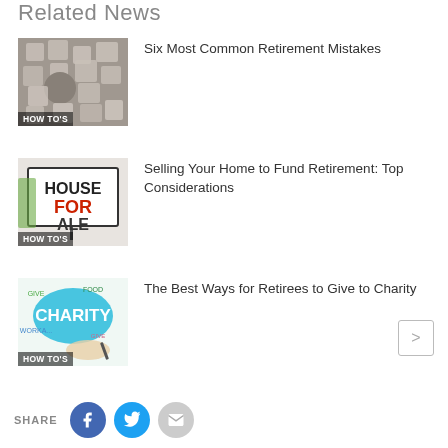Related News
[Figure (photo): Puzzle pieces with one piece separated, labeled HOW TO'S]
Six Most Common Retirement Mistakes
[Figure (photo): House For Sale sign, labeled HOW TO'S]
Selling Your Home to Fund Retirement: Top Considerations
[Figure (photo): Charity word cloud with hand writing, labeled HOW TO'S]
The Best Ways for Retirees to Give to Charity
SHARE